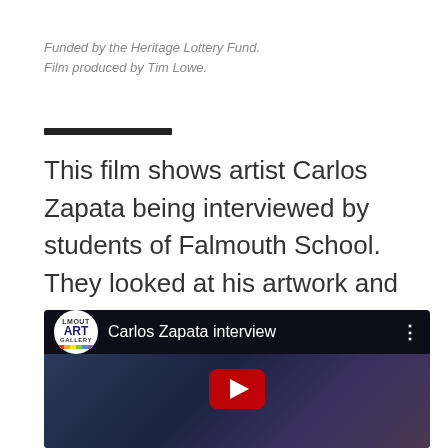Funded by the Heritage Lottery Fund.
Film produced by Tim Lowe.
This film shows artist Carlos Zapata being interviewed by students of Falmouth School. They looked at his artwork and discussed the medium of Automata.
[Figure (screenshot): YouTube video thumbnail showing 'Carlos Zapata interview' with Falmouth Art Gallery channel logo. A man is visible against a blue curtain background with a red YouTube play button overlay.]